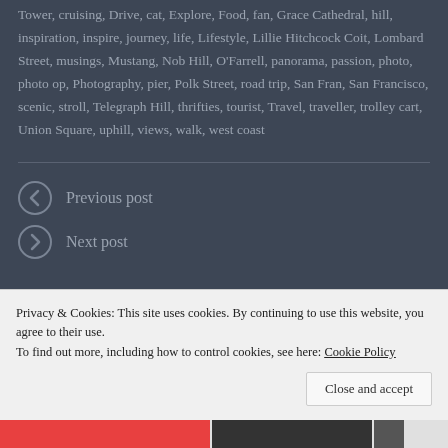Tower, cruising, Drive, cat, Explore, Food, fan, Grace Cathedral, hill, inspiration, inspire, journey, life, Lifestyle, Lillie Hitchcock Coit, Lombard Street, musings, Mustang, Nob Hill, O'Farrell, panorama, passion, photo, photo op, Photography, pier, Polk Street, road trip, San Fran, San Francisco, scenic, stroll, Telegraph Hill, thrifties, tourist, Travel, traveller, trolley cart, Union Square, uphill, views, walk, west coast
Previous post
Next post
Leave a Reply
Advertisements
Privacy & Cookies: This site uses cookies. By continuing to use this website, you agree to their use.
To find out more, including how to control cookies, see here: Cookie Policy